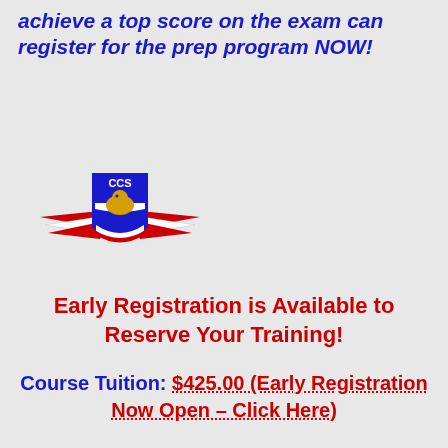achieve a top score on the exam can register for the prep program NOW!
[Figure (logo): CCS organization logo with eagle emblem, shield, and red/white/blue wing design]
Early Registration is Available to Reserve Your Training!
Course Tuition: $425.00 (Early Registration Now Open – Click Here)